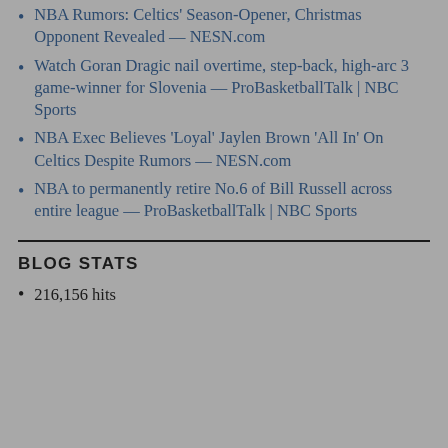NBA Rumors: Celtics’ Season-Opener, Christmas Opponent Revealed — NESN.com
Watch Goran Dragic nail overtime, step-back, high-arc 3 game-winner for Slovenia — ProBasketballTalk | NBC Sports
NBA Exec Believes ‘Loyal’ Jaylen Brown ‘All In’ On Celtics Despite Rumors — NESN.com
NBA to permanently retire No.6 of Bill Russell across entire league — ProBasketballTalk | NBC Sports
BLOG STATS
216,156 hits